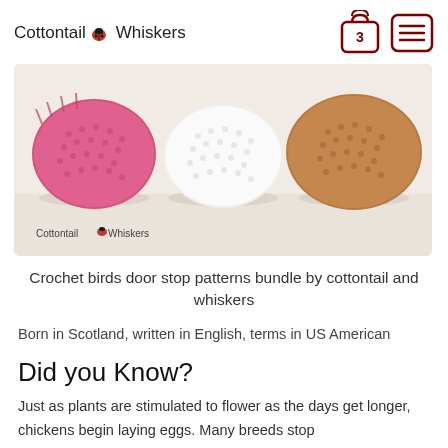Cottontail & Whiskers — navigation with shopping bag (3) and menu icons
[Figure (photo): Three crochet bird door stops in pink, white, and brown/tan colors, photographed on a white surface. Cottontail & Whiskers watermark in lower left.]
Crochet birds door stop patterns bundle by cottontail and whiskers
Born in Scotland, written in English, terms in US American
Did you Know?
Just as plants are stimulated to flower as the days get longer, chickens begin laying eggs. Many breeds stop